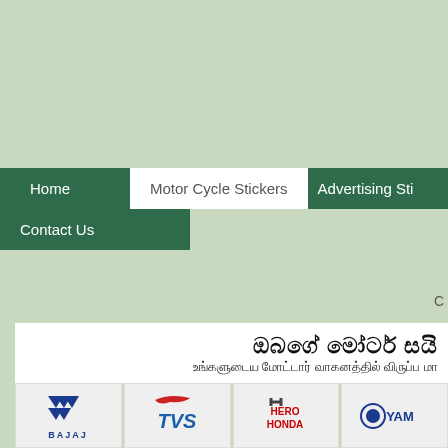Home | Motor Cycle Stickers | Advertising Sti... | Contact Us
C...
ඔබගේ මෝටර් සයි... | உங்களுடைய மோட்டார் வாகனத்தில் விருப்ப மா...
[Figure (logo): Bajaj motorcycle brand logo - blue chevron symbol with BAJAJ text]
[Figure (logo): TVS motorcycle brand logo - blue italic TVS text with red animal graphic]
[Figure (logo): Hero Honda motorcycle brand logo - red and black HERO HONDA text]
[Figure (logo): Yamaha motorcycle brand logo - YAM... text with circular emblem]